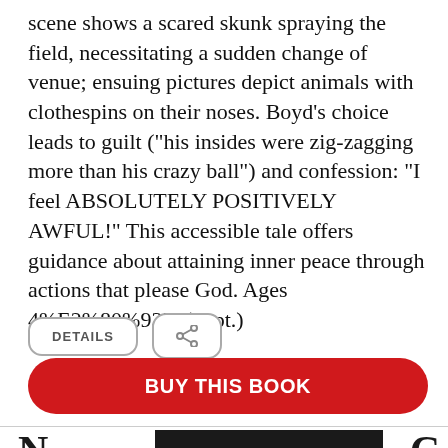scene shows a scared skunk spraying the field, necessitating a sudden change of venue; ensuing pictures depict animals with clothespins on their noses. Boyd's choice leads to guilt ("his insides were zig-zagging more than his crazy ball") and confession: "I feel ABSOLUTELY POSITIVELY AWFUL!" This accessible tale offers guidance about attaining inner peace through actions that please God. Ages 4%E2%80%937. (Sept.)
[Figure (screenshot): Two UI buttons: a 'DETAILS' button with rounded rectangle border, and a share icon button with rounded rectangle border]
[Figure (screenshot): Red 'BUY THIS BOOK' button with rounded corners]
[Figure (screenshot): Bottom section with a horizontal divider line and dark black bar partially visible at the bottom of the page]